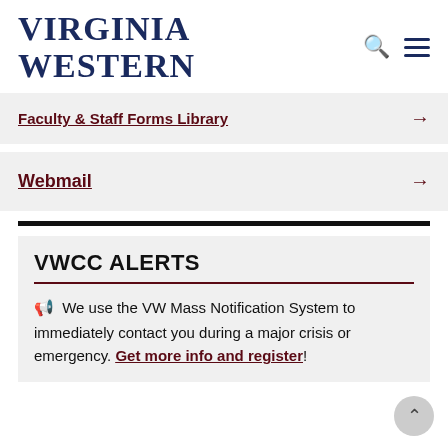Virginia Western
Faculty & Staff Forms Library →
Webmail →
VWCC ALERTS
We use the VW Mass Notification System to immediately contact you during a major crisis or emergency. Get more info and register!